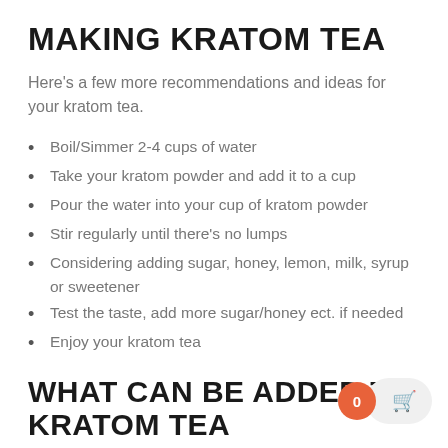MAKING KRATOM TEA
Here’s a few more recommendations and ideas for your kratom tea.
Boil/Simmer 2-4 cups of water
Take your kratom powder and add it to a cup
Pour the water into your cup of kratom powder
Stir regularly until there’s no lumps
Considering adding sugar, honey, lemon, milk, syrup or sweetener
Test the taste, add more sugar/honey ect. if needed
Enjoy your kratom tea
WHAT CAN BE ADDED TO KRATOM TEA
This is all about preference here, but you can really get